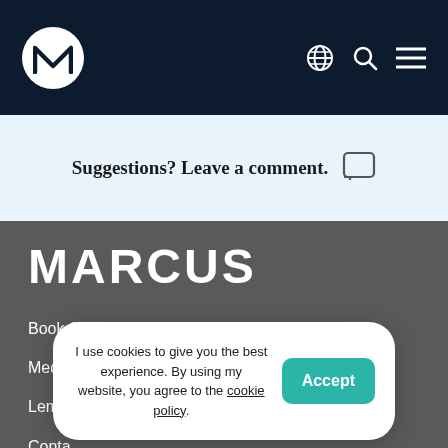Marcus logo and navigation bar with globe, search, and menu icons
Suggestions? Leave a comment.
MARCUS
Book Speaking Engagements
Media Inquiries
Lemon...
Conta...
I use cookies to give you the best experience. By using my website, you agree to the cookie policy.